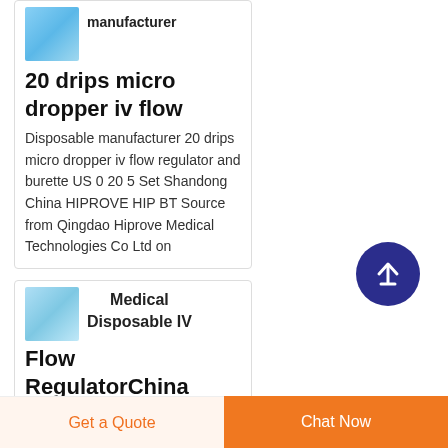manufacturer 20 drips micro dropper iv flow
Disposable manufacturer 20 drips micro dropper iv flow regulator and burette US 0 20 5 Set Shandong China HIPROVE HIP BT Source from Qingdao Hiprove Medical Technologies Co Ltd on
Medical Disposable IV Flow RegulatorChina Medical
[Figure (screenshot): Back to top arrow button, dark navy circle with upward arrow]
Get a Quote
Chat Now